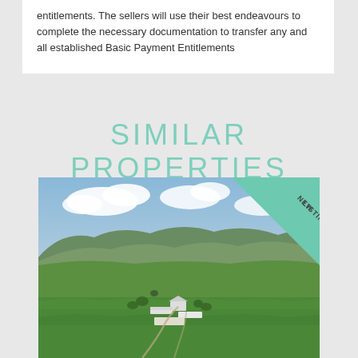entitlements. The sellers will use their best endeavours to complete the necessary documentation to transfer any and all established Basic Payment Entitlements
SIMILAR PROPERTIES
[Figure (photo): Aerial photo of a rural farm property surrounded by green fields and rolling hills under a partly cloudy sky, with a 'NEW LISTING' badge in the top-right corner.]